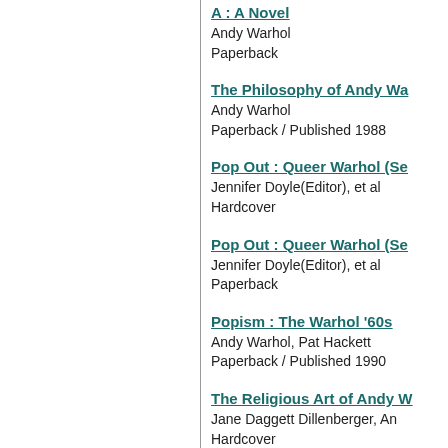A : A Novel
Andy Warhol
Paperback
The Philosophy of Andy Wa...
Andy Warhol
Paperback / Published 1988
Pop Out : Queer Warhol (Se...
Jennifer Doyle(Editor), et al
Hardcover
Pop Out : Queer Warhol (Se...
Jennifer Doyle(Editor), et al
Paperback
Popism : The Warhol '60s
Andy Warhol, Pat Hackett
Paperback / Published 1990
The Religious Art of Andy W...
Jane Daggett Dillenberger, An...
Hardcover